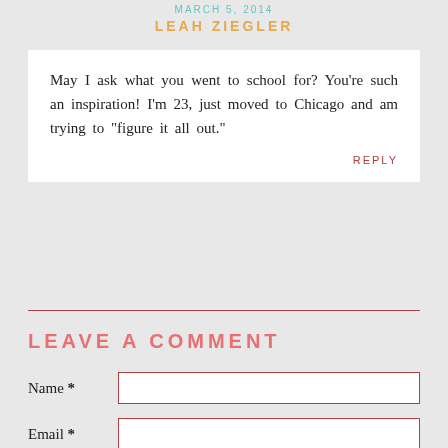MARCH 5, 2014
LEAH ZIEGLER
May I ask what you went to school for? You’re such an inspiration! I’m 23, just moved to Chicago and am trying to “figure it all out.”
REPLY
LEAVE A COMMENT
Name *
Email *